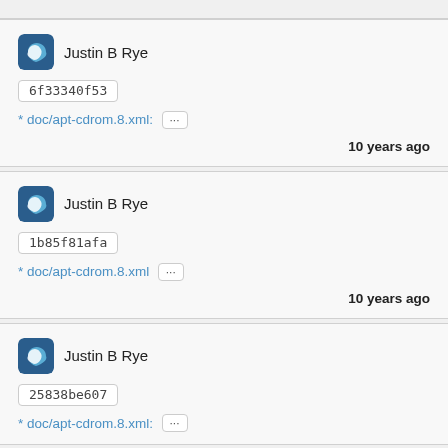Justin B Rye — commit 6f33340f53 — * doc/apt-cdrom.8.xml: ... — 10 years ago
Justin B Rye — commit 1b85f81afa — * doc/apt-cdrom.8.xml ... — 10 years ago
Justin B Rye — commit 25838be607 — * doc/apt-cdrom.8.xml: ...